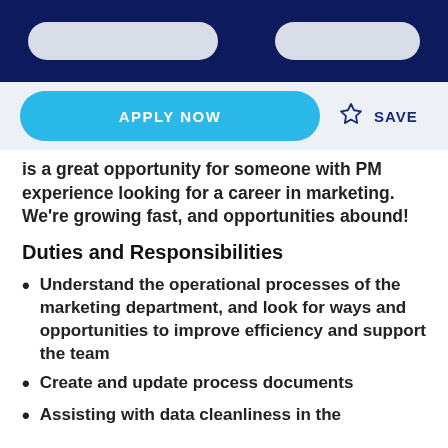[navigation bar with search fields]
APPLY NOW
SAVE
is a great opportunity for someone with PM experience looking for a career in marketing. We're growing fast, and opportunities abound!
Duties and Responsibilities
Understand the operational processes of the marketing department, and look for ways and opportunities to improve efficiency and support the team
Create and update process documents
Assisting with data cleanliness in the